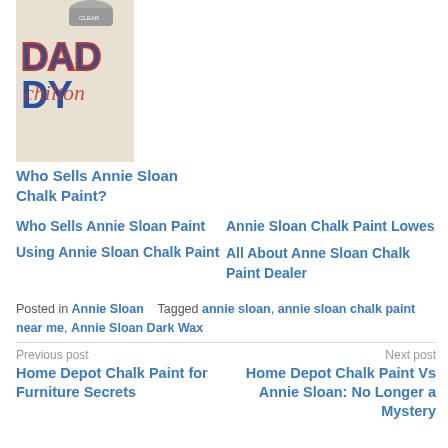[Figure (photo): Close-up photo of a painted sign reading 'DADDY' with blue and red lettering, a clear spray can visible at the top, chalk paint project on fabric or wood]
Who Sells Annie Sloan Chalk Paint?
Who Sells Annie Sloan Paint
Annie Sloan Chalk Paint Lowes
Using Annie Sloan Chalk Paint
All About Anne Sloan Chalk Paint Dealer
Posted in Annie Sloan   Tagged annie sloan, annie sloan chalk paint near me, Annie Sloan Dark Wax
Previous post
Home Depot Chalk Paint for Furniture Secrets
Next post
Home Depot Chalk Paint Vs Annie Sloan: No Longer a Mystery